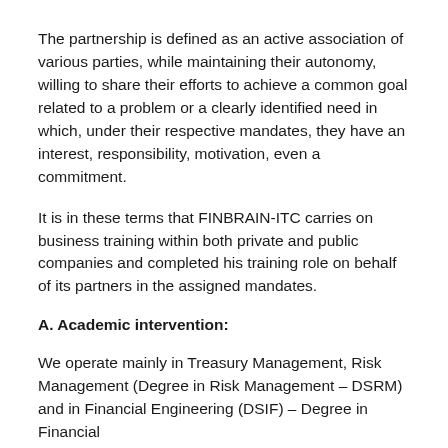The partnership is defined as an active association of various parties, while maintaining their autonomy, willing to share their efforts to achieve a common goal related to a problem or a clearly identified need in which, under their respective mandates, they have an interest, responsibility, motivation, even a commitment.
It is in these terms that FINBRAIN-ITC carries on business training within both private and public companies and completed his training role on behalf of its partners in the assigned mandates.
A. Academic intervention:
We operate mainly in Treasury Management, Risk Management (Degree in Risk Management – DSRM) and in Financial Engineering (DSIF) – Degree in Financial